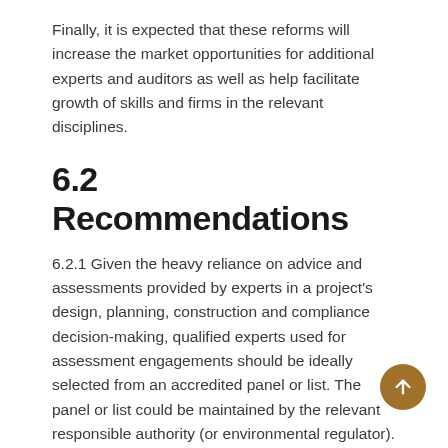Finally, it is expected that these reforms will increase the market opportunities for additional experts and auditors as well as help facilitate growth of skills and firms in the relevant disciplines.
6.2 Recommendations
6.2.1 Given the heavy reliance on advice and assessments provided by experts in a project's design, planning, construction and compliance decision-making, qualified experts used for assessment engagements should be ideally selected from an accredited panel or list. The panel or list could be maintained by the relevant responsible authority (or environmental regulator). Alternately, the panel or list could be maintained by a relevant industry body or